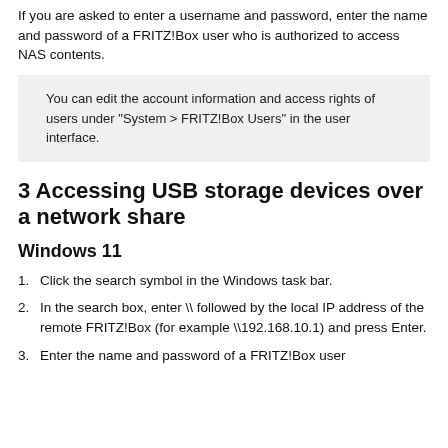If you are asked to enter a username and password, enter the name and password of a FRITZ!Box user who is authorized to access NAS contents.
You can edit the account information and access rights of users under "System > FRITZ!Box Users" in the user interface.
3 Accessing USB storage devices over a network share
Windows 11
Click the search symbol in the Windows task bar.
In the search box, enter \\ followed by the local IP address of the remote FRITZ!Box (for example \\192.168.10.1) and press Enter.
Enter the name and password of a FRITZ!Box user